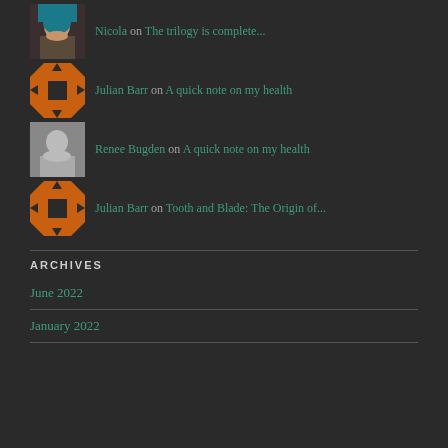Nicola on The trilogy is complete...
Julian Barr on A quick note on my health
Renee Bugden on A quick note on my health
Julian Barr on Tooth and Blade: The Origin of...
ARCHIVES
June 2022
January 2022